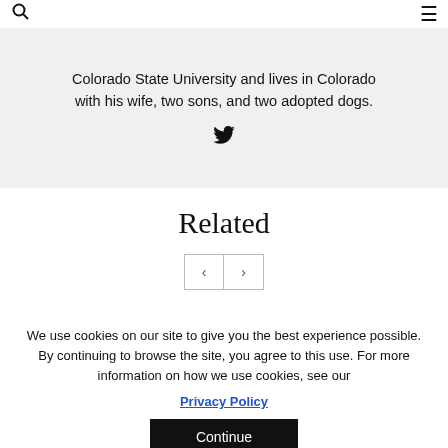Colorado State University and lives in Colorado with his wife, two sons, and two adopted dogs.
[Figure (illustration): Twitter bird icon]
Related
[Figure (other): Previous and next navigation buttons]
We use cookies on our site to give you the best experience possible. By continuing to browse the site, you agree to this use. For more information on how we use cookies, see our
Privacy Policy
Continue